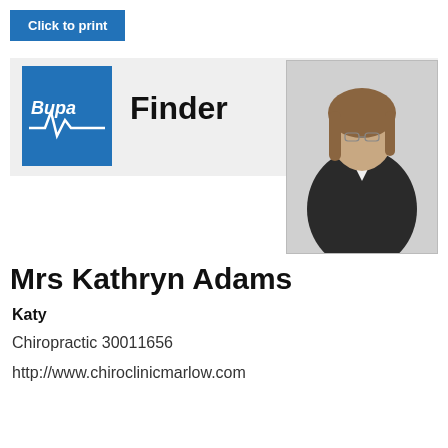Click to print
[Figure (logo): Bupa logo with heartbeat line on blue background, with 'Finder' text to the right]
[Figure (photo): Professional headshot of a woman with brown hair wearing a black blazer and white shirt]
Mrs Kathryn Adams
Katy
Chiropractic 30011656
http://www.chiroclinicmarlow.com